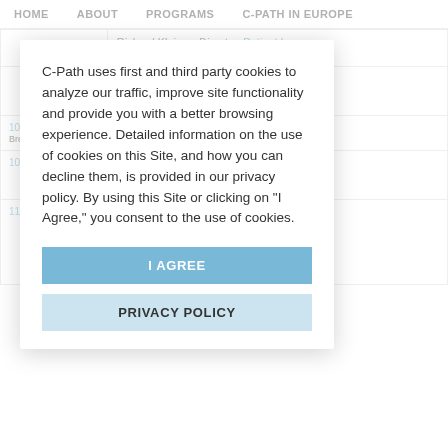HOME   ABOUT   PROGRAMS   C-PATH IN EUROPE
C-Path uses first and third party cookies to analyze our traffic, improve site functionality and provide you with a better browsing experience. Detailed information on the use of cookies on this Site, and how you can decline them, is provided in our privacy policy. By using this Site or clicking on "I Agree," you consent to the use of cookies.
I AGREE
PRIVACY POLICY